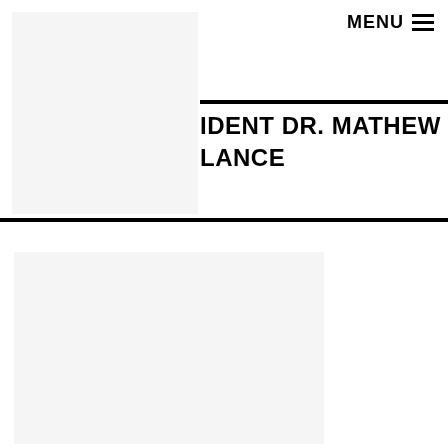[Figure (photo): Top-left image placeholder box with light gray background]
MENU ≡
IDENT DR. MATHEW NEAL'S LANCE
[Figure (photo): Bottom image placeholder box with light gray background]